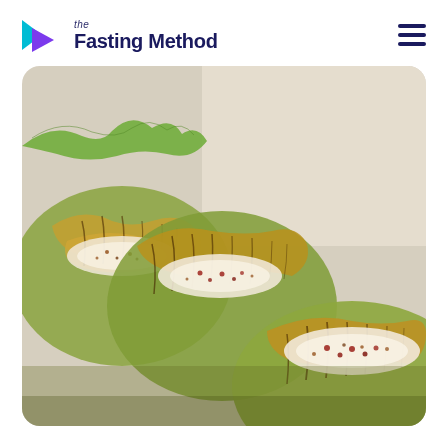the Fasting Method
[Figure (photo): Close-up photo of roasted or grilled cabbage wedges with creamy sauce and red pepper flakes/seeds, served on a white surface]